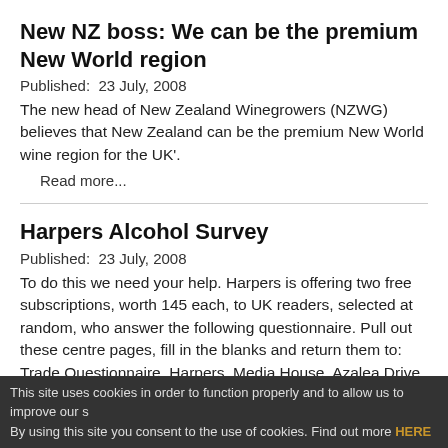New NZ boss: We can be the premium New World region
Published:  23 July, 2008
The new head of New Zealand Winegrowers (NZWG) believes that New Zealand can be the premium New World wine region for the UK'.
Read more...
Harpers Alcohol Survey
Published:  23 July, 2008
To do this we need your help. Harpers is offering two free subscriptions, worth 145 each, to UK readers, selected at random, who answer the following questionnaire. Pull out these centre pages, fill in the blanks and return them to: Trade Questionnaire, Harpers, Media House, Azalea Drive, Swanley, Kent BR8 8HU.
This site uses cookies in order to function properly and to allow us to improve our s By using this site you consent to the use of cookies. Find out more HERE